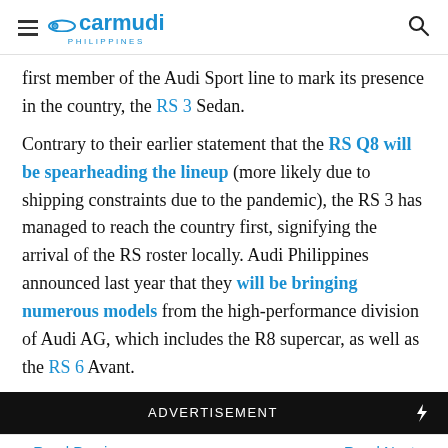carmudi PHILIPPINES
first member of the Audi Sport line to mark its presence in the country, the RS 3 Sedan.
Contrary to their earlier statement that the RS Q8 will be spearheading the lineup (more likely due to shipping constraints due to the pandemic), the RS 3 has managed to reach the country first, signifying the arrival of the RS roster locally. Audi Philippines announced last year that they will be bringing numerous models from the high-performance division of Audi AG, which includes the R8 supercar, as well as the RS 6 Avant.
ADVERTISEMENT
← Read Previous  Audi Sport ends this yea...    Read Next →  Audi Live View gives cust...